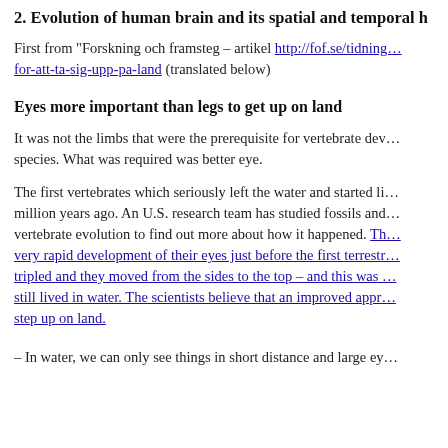2. Evolution of human brain and its spatial and temporal h…
First from "Forskning och framsteg – artikel http://fof.se/tidning/…/for-att-ta-sig-upp-pa-land (translated below)
Eyes more important than legs to get up on land
It was not the limbs that were the prerequisite for vertebrate dev… species. What was required was better eye.
The first vertebrates which seriously left the water and started li… million years ago. An U.S. research team has studied fossils and… vertebrate evolution to find out more about how it happened. Th… very rapid development of their eyes just before the first terrestr… tripled and they moved from the sides to the top – and this was … still lived in water. The scientists believe that an improved appr… step up on land.
– In water, we can only see things in short distance and large ey…